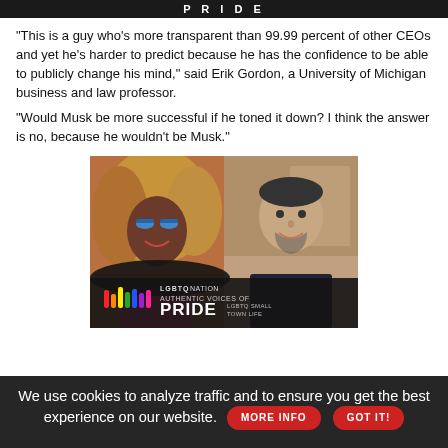[Figure (photo): Top banner with partial image showing 'PRIDE' text in bright letters on dark background]
"This is a guy who's more transparent than 99.99 percent of other CEOs and yet he's harder to predict because he has the confidence to be able to publicly change his mind," said Erik Gordon, a University of Michigan business and law professor.
"Would Musk be more successful if he toned it down? I think the answer is no, because he wouldn't be Musk."
[Figure (photo): Two people side by side — left: a person with big curly hair and colorful makeup wearing pink; right: a man in a dark polo shirt smiling. Overlaid at bottom: LGBTQ Nation 'Authentic Voices of Pride — LGBTQ Small Town Life' branding with rainbow bars icon.]
We use cookies to analyze traffic and to ensure you get the best experience on our website.
MORE INFO
GOT IT!